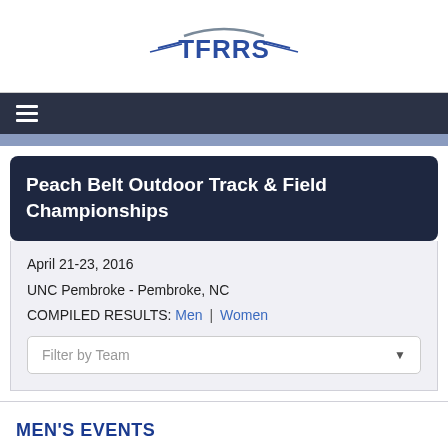[Figure (logo): TFRRS logo with wing decorations and arc above text]
≡ (navigation menu icon)
Peach Belt Outdoor Track & Field Championships
April 21-23, 2016
UNC Pembroke - Pembroke, NC
COMPILED RESULTS: Men | Women
MEN'S EVENTS
EVENT